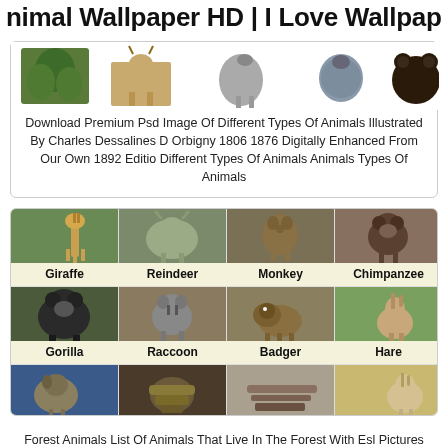Animal Wallpaper HD | I Love Wallpap
[Figure (photo): Row of animal images: plant/leaves, deer, bird, duck, bear]
Download Premium Psd Image Of Different Types Of Animals Illustrated By Charles Dessalines D Orbigny 1806 1876 Digitally Enhanced From Our Own 1892 Editio Different Types Of Animals Animals Types Of Animals
[Figure (infographic): 4x3 animal grid with photos and labels: Giraffe, Reindeer, Monkey, Chimpanzee, Gorilla, Raccoon, Badger, Hare, plus a partial bottom row]
Forest Animals List Of Animals That Live In The Forest With Esl Pictures Esl Forums List Of Animals Forest Animals